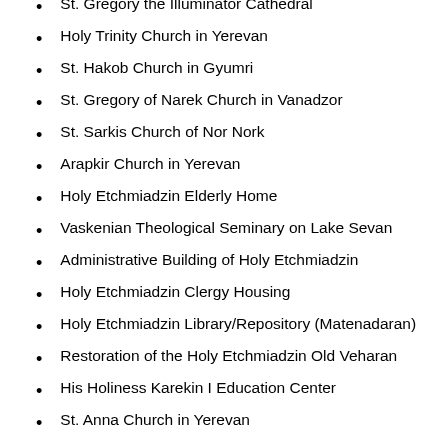St. Gregory the Illuminator Cathedral
Holy Trinity Church in Yerevan
St. Hakob Church in Gyumri
St. Gregory of Narek Church in Vanadzor
St. Sarkis Church of Nor Nork
Arapkir Church in Yerevan
Holy Etchmiadzin Elderly Home
Vaskenian Theological Seminary on Lake Sevan
Administrative Building of Holy Etchmiadzin
Holy Etchmiadzin Clergy Housing
Holy Etchmiadzin Library/Repository (Matenadaran)
Restoration of the Holy Etchmiadzin Old Veharan
His Holiness Karekin I Education Center
St. Anna Church in Yerevan